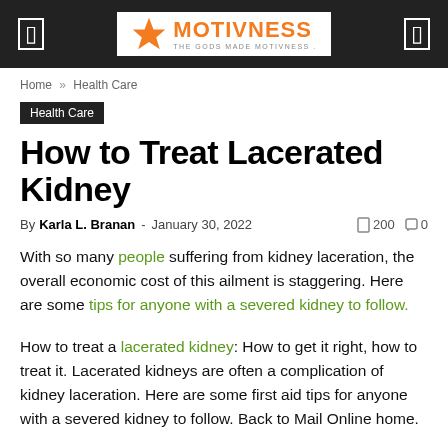MOTIVNESS — THE GODS MADE MOTIVNESS
Home » Health Care
Health Care
How to Treat Lacerated Kidney
By Karla L. Branan - January 30, 2022   200   0
With so many people suffering from kidney laceration, the overall economic cost of this ailment is staggering. Here are some tips for anyone with a severed kidney to follow.
How to treat a lacerated kidney: How to get it right, how to treat it. Lacerated kidneys are often a complication of kidney laceration. Here are some first aid tips for anyone with a severed kidney to follow. Back to Mail Online home.